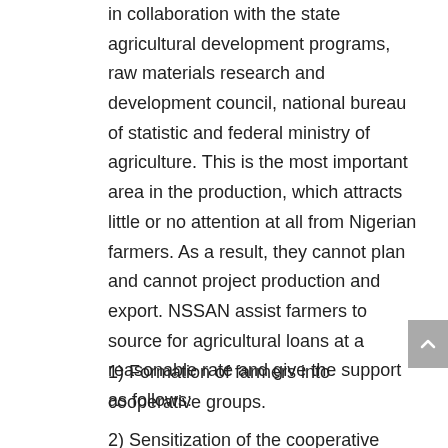in collaboration with the state agricultural development programs, raw materials research and development council, national bureau of statistic and federal ministry of agriculture. This is the most important area in the production, which attracts little or no attention at all from Nigerian farmers. As a result, they cannot plan and cannot project production and export. NSSAN assist farmers to source for agricultural loans at a reasonable rate and give the support as follows:
1) Formation of farmers into cooperative groups.
2) Sensitization of the cooperative members